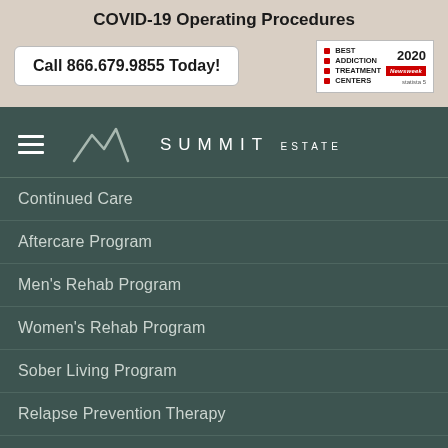COVID-19 Operating Procedures
Call 866.679.9855 Today!
[Figure (logo): Best Addiction Treatment Centers 2020 badge - Newsweek and Statista award]
[Figure (logo): Summit Estate logo with mountain graphic, hamburger menu icon]
Continued Care
Aftercare Program
Men's Rehab Program
Women's Rehab Program
Sober Living Program
Relapse Prevention Therapy
Cocaine Addiction Treatment Program